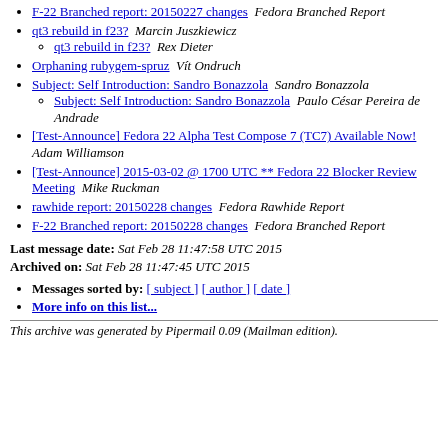F-22 Branched report: 20150227 changes  Fedora Branched Report
qt3 rebuild in f23?  Marcin Juszkiewicz
qt3 rebuild in f23?  Rex Dieter
Orphaning rubygem-spruz  Vít Ondruch
Subject: Self Introduction: Sandro Bonazzola  Sandro Bonazzola
Subject: Self Introduction: Sandro Bonazzola  Paulo César Pereira de Andrade
[Test-Announce] Fedora 22 Alpha Test Compose 7 (TC7) Available Now!  Adam Williamson
[Test-Announce] 2015-03-02 @ 1700 UTC ** Fedora 22 Blocker Review Meeting  Mike Ruckman
rawhide report: 20150228 changes  Fedora Rawhide Report
F-22 Branched report: 20150228 changes  Fedora Branched Report
Last message date: Sat Feb 28 11:47:58 UTC 2015
Archived on: Sat Feb 28 11:47:45 UTC 2015
Messages sorted by: [ subject ] [ author ] [ date ]
More info on this list...
This archive was generated by Pipermail 0.09 (Mailman edition).